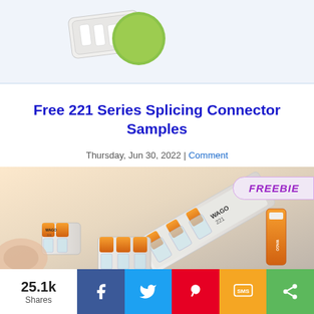[Figure (photo): Partial top image showing a white connector piece and a green circular object on a light background.]
Free 221 Series Splicing Connector Samples
Thursday, Jun 30, 2022 | Comment
[Figure (photo): Photo of WAGO 221 Series splicing connectors in orange and white/transparent, multiple sizes shown. A FREEBIE badge is overlaid in the top right corner.]
25.1k Shares
[Figure (infographic): Social share bar with Facebook (blue), Twitter (light blue), Pinterest (red), SMS (orange), and share/more (green) buttons.]